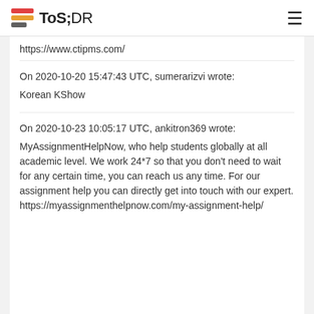ToS;DR
https://www.ctipms.com/
On 2020-10-20 15:47:43 UTC, sumerarizvi wrote:
Korean KShow
On 2020-10-23 10:05:17 UTC, ankitron369 wrote:
MyAssignmentHelpNow, who help students globally at all academic level. We work 24*7 so that you don't need to wait for any certain time, you can reach us any time. For our assignment help you can directly get into touch with our expert. https://myassignmenthelpnow.com/my-assignment-help/